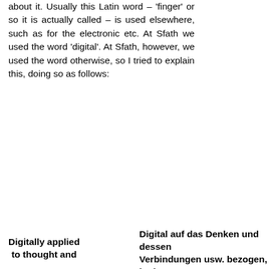about it. Usually this Latin word – 'finger' or so it is actually called – is used elsewhere, such as for the electronic etc. At Sfath we used the word 'digital'. At Sfath, however, we used the word otherwise, so I tried to explain this, doing so as follows:
Digitally applied to thought and
Digital auf das Denken und dessen Verbindungen usw. bezogen, bedeu